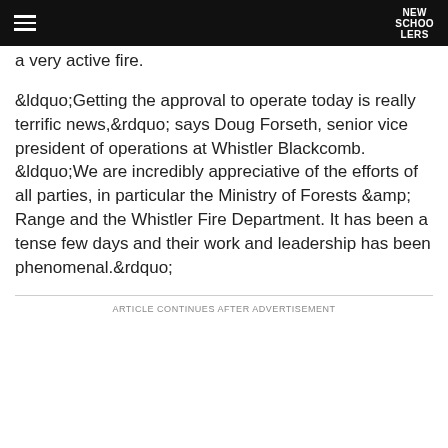NEW SCHOOLERS
a very active fire.
&ldquo;Getting the approval to operate today is really terrific news,&rdquo; says Doug Forseth, senior vice president of operations at Whistler Blackcomb. &ldquo;We are incredibly appreciative of the efforts of all parties, in particular the Ministry of Forests &amp; Range and the Whistler Fire Department. It has been a tense few days and their work and leadership has been phenomenal.&rdquo;
ARTICLE CONTINUES AFTER ADVERTISEMENT